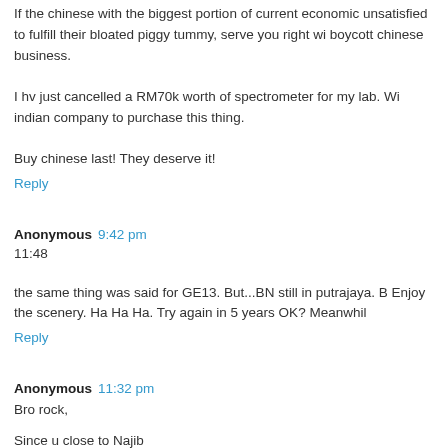If the chinese with the biggest portion of current economic unsatisfied to fulfill their bloated piggy tummy, serve you right w boycott chinese business.
I hv just cancelled a RM70k worth of spectrometer for my lab. Wi indian company to purchase this thing.
Buy chinese last! They deserve it!
Reply
Anonymous  9:42 pm
11:48
the same thing was said for GE13. But...BN still in putrajaya. B Enjoy the scenery. Ha Ha Ha. Try again in 5 years OK? Meanwhil
Reply
Anonymous  11:32 pm
Bro rock,
Since u close to Najib
Just give some suggestion of how to improve malay urban...